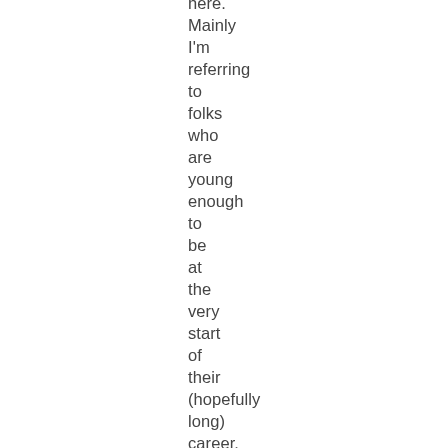here. Mainly I'm referring to folks who are young enough to be at the very start of their (hopefully long) career. I basically just grabbed the